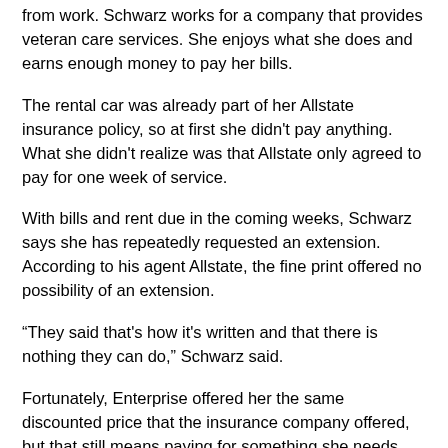from work. Schwarz works for a company that provides veteran care services. She enjoys what she does and earns enough money to pay her bills.
The rental car was already part of her Allstate insurance policy, so at first she didn't pay anything. What she didn't realize was that Allstate only agreed to pay for one week of service.
With bills and rent due in the coming weeks, Schwarz says she has repeatedly requested an extension. According to his agent Allstate, the fine print offered no possibility of an extension.
“They said that's how it's written and that there is nothing they can do,” Schwarz said.
Fortunately, Enterprise offered her the same discounted price that the insurance company offered, but that still means paying for something she needs.